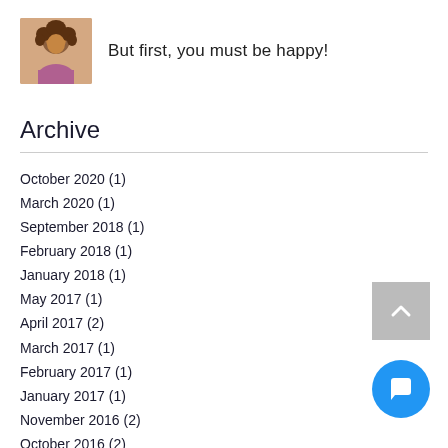[Figure (photo): Small portrait photo of a woman with curly hair]
But first, you must be happy!
Archive
October 2020 (1)
March 2020 (1)
September 2018 (1)
February 2018 (1)
January 2018 (1)
May 2017 (1)
April 2017 (2)
March 2017 (1)
February 2017 (1)
January 2017 (1)
November 2016 (2)
October 2016 (2)
September 2016 (1)
Search By Tags